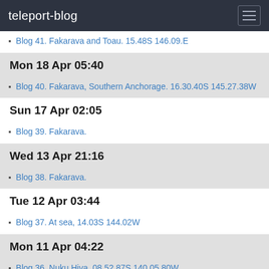teleport-blog
Blog 41. Fakarava and Toau. 15.48S 146.09.E
Mon 18 Apr 05:40
Blog 40. Fakarava, Southern Anchorage. 16.30.40S 145.27.38W
Sun 17 Apr 02:05
Blog 39. Fakarava.
Wed 13 Apr 21:16
Blog 38. Fakarava.
Tue 12 Apr 03:44
Blog 37. At sea, 14.03S 144.02W
Mon 11 Apr 04:22
Blog 36. Nuku Hiva. 08.52.87S 140.05.80W
Thu 7 Apr 02:24
Blog 35. Nuka Hiva. 08.55.09S 140.05.96W
Wed 6 Apr 06:24
Blog 34. Uka Huka. 08.55.69S 139.32.06W